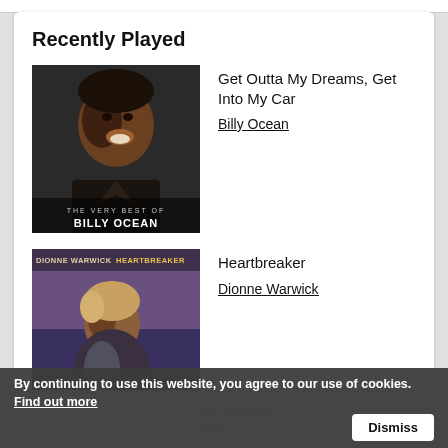Recently Played
[Figure (photo): Album cover: The Very Best of Billy Ocean - portrait of Billy Ocean]
Get Outta My Dreams, Get Into My Car
Billy Ocean
[Figure (photo): Album cover: Dionne Warwick Heartbreaker - portrait of Dionne Warwick]
Heartbreaker
Dionne Warwick
New Sensation
INXS
By continuing to use this website, you agree to our use of cookies. Find out more  Dismiss